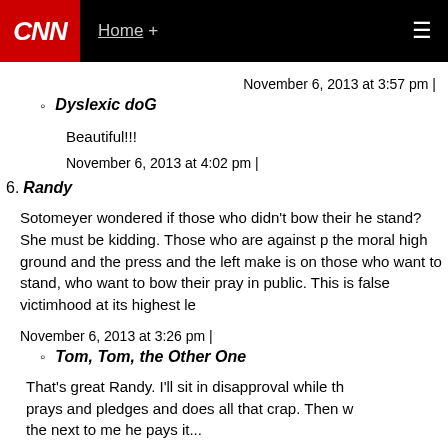CNN | Home +
November 6, 2013 at 3:57 pm |
Dyslexic doG
Beautiful!!!
November 6, 2013 at 4:02 pm |
6. Randy
Sotomeyer wondered if those who didn't bow their he... stand? She must be kidding. Those who are against p... the moral high ground and the press and the left make... is on those who want to stand, who want to bow their... pray in public. This is false victimhood at its highest le...
November 6, 2013 at 3:26 pm |
Tom, Tom, the Other One
That's great Randy. I'll sit in disapproval while th... prays and pledges and does all that crap. Then w...